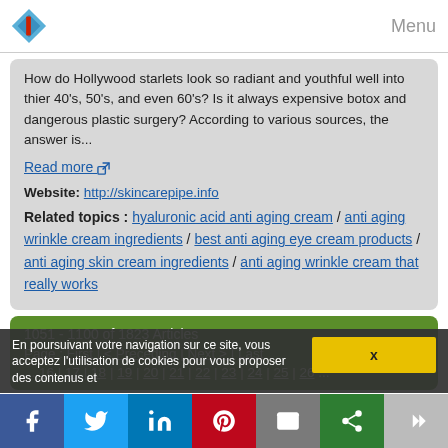Menu
How do Hollywood starlets look so radiant and youthful well into thier 40's, 50's, and even 60's? Is it always expensive botox and dangerous plastic surgery? According to various sources, the answer is...
Read more
Website: http://skincarepipe.info
Related topics : hyaluronic acid anti aging cream / anti aging wrinkle cream ingredients / best anti aging eye cream products / anti aging skin cream ingredients / anti aging wrinkle cream that really works
1051 - 1100 of 1823 Articles
Page : First | < Preceding | Next > | Last ... 16 | 17 | 18 | 19 | 20 | 21 | 22 | 23 | 24 | 25 | 26 ...
En poursuivant votre navigation sur ce site, vous acceptez l'utilisation de cookies pour vous proposer des contenus et